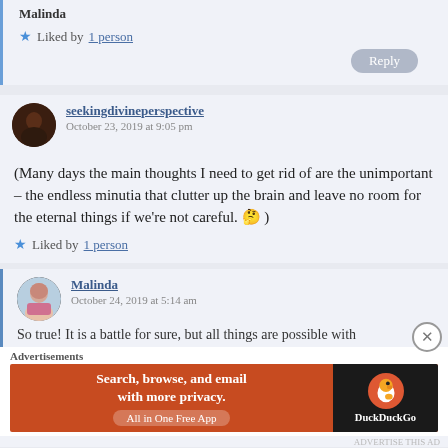Malinda
★ Liked by 1 person
Reply
seekingdivineperspective
October 23, 2019 at 9:05 pm
(Many days the main thoughts I need to get rid of are the unimportant – the endless minutia that clutter up the brain and leave no room for the eternal things if we're not careful. 🤔 )
★ Liked by 1 person
Malinda
October 24, 2019 at 5:14 am
So true! It is a battle for sure, but all things are possible with
Advertisements
Search, browse, and email with more privacy. All in One Free App
DuckDuckGo